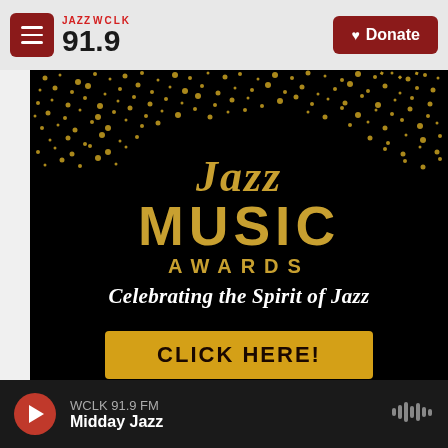[Figure (screenshot): JAZZ WCLK 91.9 FM radio station website header with logo and Donate button]
[Figure (illustration): Jazz Music Awards promotional banner on black background with gold glitter, showing 'Jazz MUSIC AWARDS - Celebrating the Spirit of Jazz - CLICK HERE!' button]
WCLK 91.9 FM
Midday Jazz